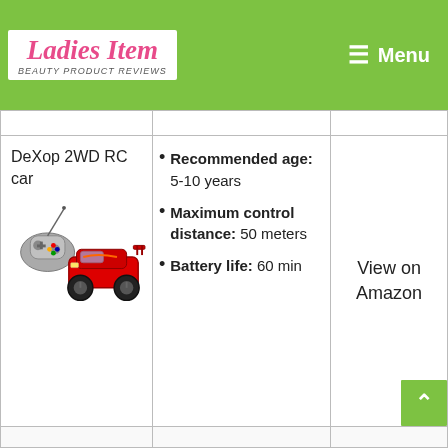Ladies Item — Beauty Product Reviews | Menu
| Product | Features | Link |
| --- | --- | --- |
| DeXop 2WD RC car | Recommended age: 5-10 years | Maximum control distance: 50 meters | Battery life: 60 min | View on Amazon |